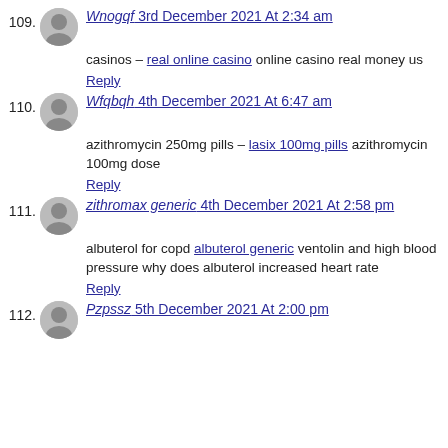109. Wnogqf 3rd December 2021 At 2:34 am — casinos – real online casino online casino real money us — Reply
110. Wfqbqh 4th December 2021 At 6:47 am — azithromycin 250mg pills – lasix 100mg pills azithromycin 100mg dose — Reply
111. zithromax generic 4th December 2021 At 2:58 pm — albuterol for copd albuterol generic ventolin and high blood pressure why does albuterol increased heart rate — Reply
112. Pzpssz 5th December 2021 At 2:00 pm